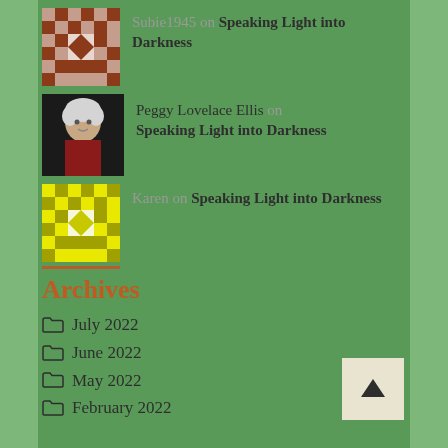Subie1945 on Speaking Light into Darkness
Peggy Lovelace Ellis on Speaking Light into Darkness
Karen on Speaking Light into Darkness
Archives
July 2022
June 2022
May 2022
February 2022